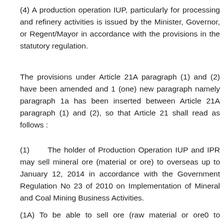(4) A production operation IUP, particularly for processing and refinery activities is issued by the Minister, Governor, or Regent/Mayor in accordance with the provisions in the statutory regulation.
The provisions under Article 21A paragraph (1) and (2) have been amended and 1 (one) new paragraph namely paragraph 1a has been inserted between Article 21A paragraph (1) and (2), so that Article 21 shall read as follows :
(1)      The holder of Production Operation IUP and IPR may sell mineral ore (material or ore) to overseas up to January 12, 2014 in accordance with the Government Regulation No 23 of 2010 on Implementation of Mineral and Coal Mining Business Activities.
(1A) To be able to sell ore (raw material or ore0 to overseas, the holder of Production Operation IUP and